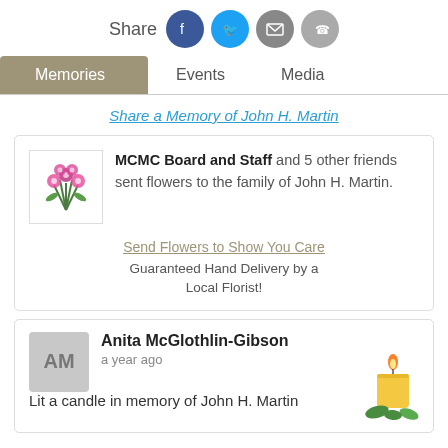[Figure (other): Share row with social icons: Facebook (blue), Twitter (cyan), Email (gray), Phone (gray)]
Memories | Events | Media
Share a Memory of John H. Martin
[Figure (illustration): Pink flower bouquet image inside a bordered box]
MCMC Board and Staff and 5 other friends sent flowers to the family of John H. Martin.
Send Flowers to Show You Care
Guaranteed Hand Delivery by a Local Florist!
Anita McGlothlin-Gibson
a year ago
Lit a candle in memory of John H. Martin
[Figure (illustration): Yellow candle with flame and green leaves decoration]